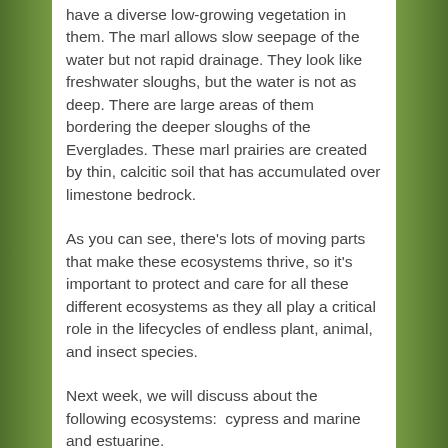have a diverse low-growing vegetation in them. The marl allows slow seepage of the water but not rapid drainage. They look like freshwater sloughs, but the water is not as deep. There are large areas of them bordering the deeper sloughs of the Everglades. These marl prairies are created by thin, calcitic soil that has accumulated over limestone bedrock.
As you can see, there's lots of moving parts that make these ecosystems thrive, so it's important to protect and care for all these different ecosystems as they all play a critical role in the lifecycles of endless plant, animal, and insect species.
Next week, we will discuss about the following ecosystems:  cypress and marine and estuarine.
Want to see a few different ecosystems up close?